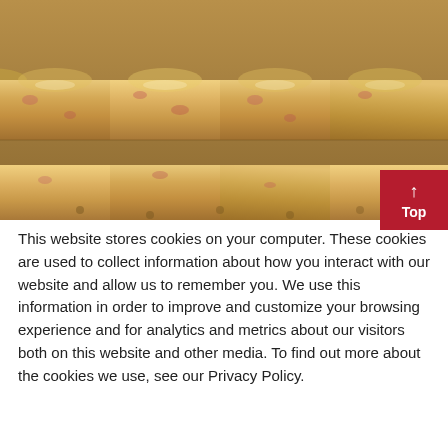[Figure (photo): Close-up photo of raw sausages/bratwursts lined up side by side on a grill or tray, showing their glossy skin with pinkish-tan coloring]
This website stores cookies on your computer. These cookies are used to collect information about how you interact with our website and allow us to remember you. We use this information in order to improve and customize your browsing experience and for analytics and metrics about our visitors both on this website and other media. To find out more about the cookies we use, see our Privacy Policy.
If you decline, your information won't be tracked when you visit this website. A single cookie will be used in your browser to remember your preference not to be tracked.
Accept
Decline